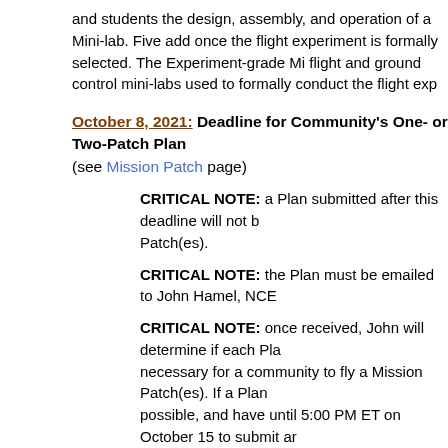and students the design, assembly, and operation of a Mini-lab. Five add once the flight experiment is formally selected. The Experiment-grade Mi flight and ground control mini-labs used to formally conduct the flight exp
October 8, 2021: Deadline for Community's One- or Two-Patch Plan (see Mission Patch page)
CRITICAL NOTE: a Plan submitted after this deadline will not b Patch(es).
CRITICAL NOTE: the Plan must be emailed to John Hamel, NCE
CRITICAL NOTE: once received, John will determine if each Pla necessary for a community to fly a Mission Patch(es). If a Plan possible, and have until 5:00 PM ET on October 15 to submit ar
October 15, 2021: Deadline for Community's One- or Two-Patch Plan (see Mission Patch page)
CRITICAL NOTE: Plans that are still deemed incomplete by this a Mission Patch(es).
October 20, 2021 (EXTENDED TO NOVEMBER 3, 2021): Deadline for Final date for your community and SSEP to have a signed contract in pla